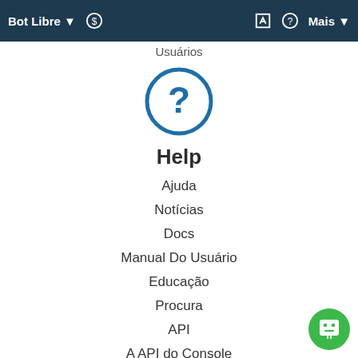Bot Libre ▼  $  ✎  ?  Mais ▼
Usuários
[Figure (illustration): Blue circle with question mark icon representing Help]
Help
Ajuda
Notícias
Docs
Manual Do Usuário
Educação
Procura
API
A API do Console
SDK
[Figure (illustration): Green circle with robot/bot face icon in bottom right corner]